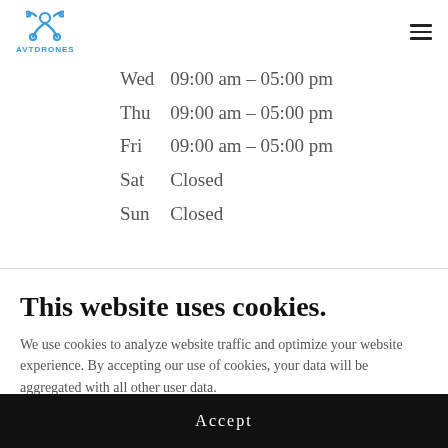AVTDRONES
| Day | Hours |
| --- | --- |
| Wed | 09:00 am – 05:00 pm |
| Thu | 09:00 am – 05:00 pm |
| Fri | 09:00 am – 05:00 pm |
| Sat | Closed |
| Sun | Closed |
This website uses cookies.
We use cookies to analyze website traffic and optimize your website experience. By accepting our use of cookies, your data will be aggregated with all other user data.
Accept